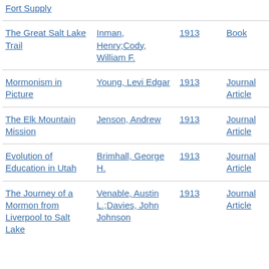Fort Supply | | |
The Great Salt Lake Trail | Inman, Henry;Cody, William F. | 1913 | Book
Mormonism in Picture | Young, Levi Edgar | 1913 | Journal Article
The Elk Mountain Mission | Jenson, Andrew | 1913 | Journal Article
Evolution of Education in Utah | Brimhall, George H. | 1913 | Journal Article
The Journey of a Mormon from Liverpool to Salt Lake | Venable, Austin L.;Davies, John Johnson | 1913 | Journal Article